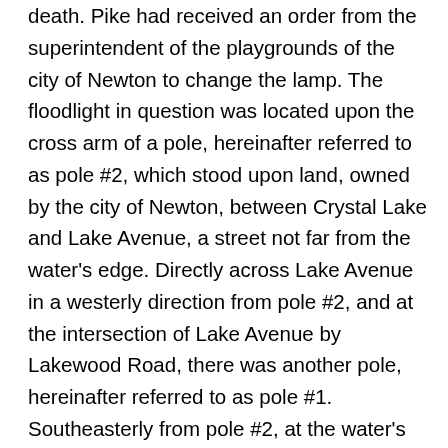death. Pike had received an order from the superintendent of the playgrounds of the city of Newton to change the lamp. The floodlight in question was located upon the cross arm of a pole, hereinafter referred to as pole #2, which stood upon land, owned by the city of Newton, between Crystal Lake and Lake Avenue, a street not far from the water's edge. Directly across Lake Avenue in a westerly direction from pole #2, and at the intersection of Lake Avenue by Lakewood Road, there was another pole, hereinafter referred to as pole #1. Southeasterly from pole #2, at the water's edge, there was a third pole, hereinafter referred to as pole #3. Pole #2 was erected in 1911, and the floodlights were first placed upon it by Pike in 1928. The record does not disclose by whom poles #2 and #3 were erected. In